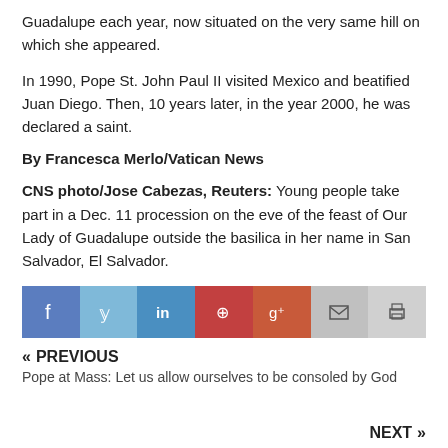Guadalupe each year, now situated on the very same hill on which she appeared.
In 1990, Pope St. John Paul II visited Mexico and beatified Juan Diego. Then, 10 years later, in the year 2000, he was declared a saint.
By Francesca Merlo/Vatican News
CNS photo/Jose Cabezas, Reuters: Young people take part in a Dec. 11 procession on the eve of the feast of Our Lady of Guadalupe outside the basilica in her name in San Salvador, El Salvador.
[Figure (other): Social sharing bar with icons for Facebook, Twitter, LinkedIn, Pinterest, Google+, Email, and Print]
« PREVIOUS
Pope at Mass: Let us allow ourselves to be consoled by God
NEXT »